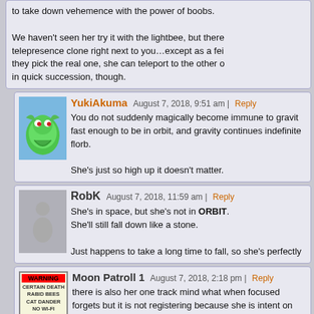to take down vehemence with the power of boobs. We haven't seen her try it with the lightbee, but there telepresence clone right next to you…except as a fei they pick the real one, she can teleport to the other o in quick succession, though.
YukiAkuma August 7, 2018, 9:51 am | Reply
You do not suddenly magically become immune to gravit fast enough to be in orbit, and gravity continues indefinite florb.

She's just so high up it doesn't matter.
RobK August 7, 2018, 11:59 am | Reply
She's in space, but she's not in ORBIT.
She'll still fall down like a stone.

Just happens to take a long time to fall, so she's perfectly
Moon Patroll 1 August 7, 2018, 2:18 pm | Reply
there is also her one track mind what when focused forgets but it is not registering because she is intent on farming XP side the atmospher, had she kept going she would be in "s back. especially since it is the earths gravity that keeps the planet. Sidney just doesn't have the rotation part so would rates.
My main point is she is likely just intent on fighting off he